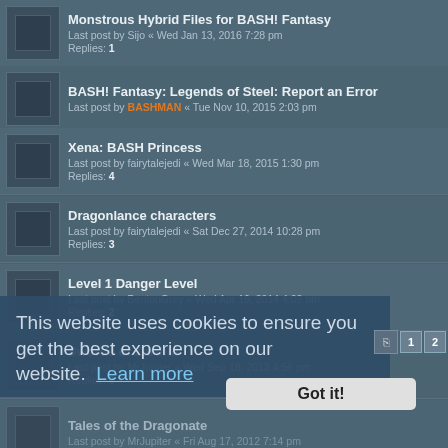Monstrous Hybrid Files for BASH! Fantasy
Last post by Sijo « Wed Jan 13, 2016 7:28 pm
Replies: 1
BASH! Fantasy: Legends of Steel: Report an Error
Last post by BASHMAN « Tue Nov 10, 2015 2:03 pm
Xena: BASH Princess
Last post by fairytalejedi « Wed Mar 18, 2015 1:30 pm
Replies: 4
Dragonlance characters
Last post by fairytalejedi « Sat Dec 27, 2014 10:28 pm
Replies: 3
Level 1 Danger Level
Last post by BentonGrey « Wed Apr 16, 2014 4:02 pm
Replies: 2
Swords of Zarthul
Last post by MrJupiter « Wed Sep 18, 2013 4:56 pm
Replies: 6
Tales of the Dragonate
Last post by MrJupiter « Fri Aug 17, 2012 7:14 pm
Replies: 15
Last post by flyingcircus « Sat Jul 28, 2012 10:43 am
Replies: 3
Some questions about the movement
Last post by BASHMAN « Sun May 20, 2012 11:18 pm
Replies: 6
What setting would you run with a Fantasy UE?
This website uses cookies to ensure you get the best experience on our website. Learn more
Got it!